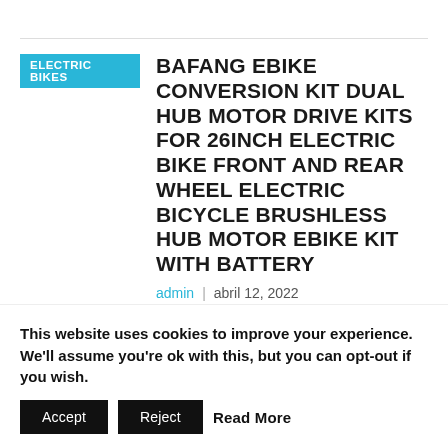ELECTRIC BIKES
BAFANG EBIKE CONVERSION KIT DUAL HUB MOTOR DRIVE KITS FOR 26INCH ELECTRIC BIKE FRONT AND REAR WHEEL ELECTRIC BICYCLE BRUSHLESS HUB MOTOR EBIKE KIT WITH BATTERY
admin | abril 12, 2022
Price: (as of – Details) Warm tips: 1. The default hub motor doesn't contain battery. If you need the battery, please select the size name which contin a
This website uses cookies to improve your experience. We'll assume you're ok with this, but you can opt-out if you wish.
Accept   Reject   Read More